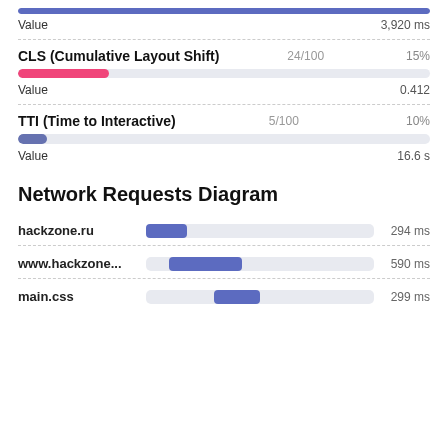[Figure (bar-chart): Value bar]
Value   3,920 ms
CLS (Cumulative Layout Shift)   24/100   15%
[Figure (bar-chart): CLS bar]
Value   0.412
TTI (Time to Interactive)   5/100   10%
[Figure (bar-chart): TTI bar]
Value   16.6 s
Network Requests Diagram
hackzone.ru   294 ms
www.hackzone...   590 ms
main.css   299 ms